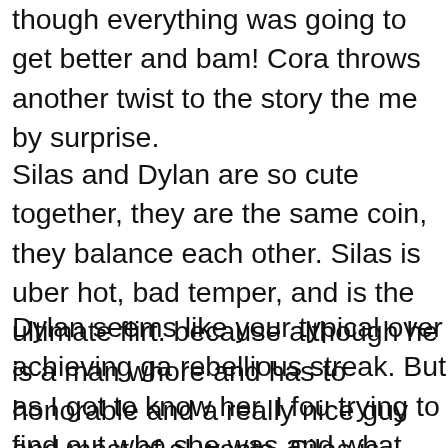though everything was going to get better and bam! Cora throws another twist to the story the me by surprise.
Silas and Dylan are so cute together, they are the same coin, they balance each other. Silas is uber hot, bad temper, and is the ultimate flirt. because although he is a man whore and has to honorable and a really nice guy and most of al wants. Silas is rough and comes off as a tough sweet, sensitive and protective when it comes to
Dylan seems like your typical over achieving ga rebellious streak. But as I got to know her, I fou trying to find out who she was and what she wo funny and awkward and suffers from diarrhea gets nervous.